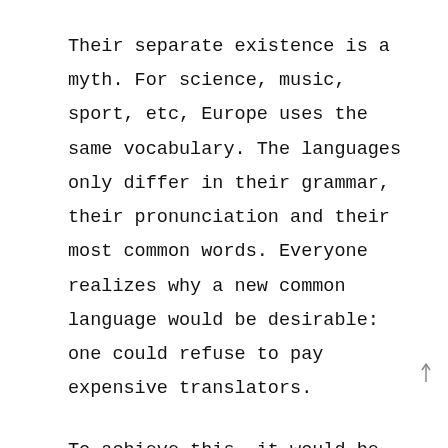Their separate existence is a myth. For science, music, sport, etc, Europe uses the same vocabulary. The languages only differ in their grammar, their pronunciation and their most common words. Everyone realizes why a new common language would be desirable: one could refuse to pay expensive translators.
To achieve this, it would be necessary to have uniform grammar, pronunciation and more common words. If several languages coalesce, the grammar of the resulting language is more simple and regular than that of the individual languages. The new common language will be more simple and regular than the existing European languages. It will be as